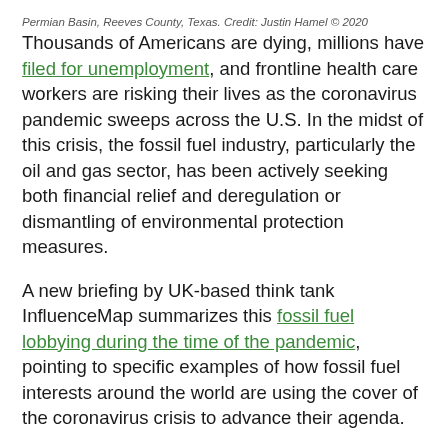Permian Basin, Reeves County, Texas. Credit: Justin Hamel © 2020
Thousands of Americans are dying, millions have filed for unemployment, and frontline health care workers are risking their lives as the coronavirus pandemic sweeps across the U.S. In the midst of this crisis, the fossil fuel industry, particularly the oil and gas sector, has been actively seeking both financial relief and deregulation or dismantling of environmental protection measures.
A new briefing by UK-based think tank InfluenceMap summarizes this fossil fuel lobbying during the time of the pandemic, pointing to specific examples of how fossil fuel interests around the world are using the cover of the coronavirus crisis to advance their agenda.
InfluenceMap, which tracks and measures corporate influence over climate policy, focused on recent corporate lobbying for both financial interventions and relating to climate or energy